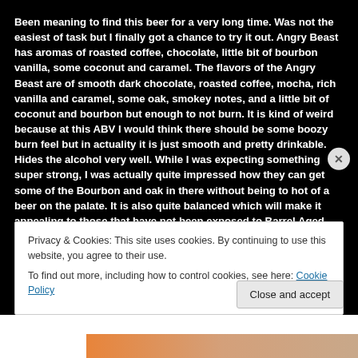Been meaning to find this beer for a very long time. Was not the easiest of task but I finally got a chance to try it out. Angry Beast has aromas of roasted coffee, chocolate, little bit of bourbon vanilla, some coconut and caramel. The flavors of the Angry Beast are of smooth dark chocolate, roasted coffee, mocha, rich vanilla and caramel, some oak, smokey notes, and a little bit of coconut and bourbon but enough to not burn. It is kind of weird because at this ABV I would think there should be some boozy burn feel but in actuality it is just smooth and pretty drinkable. Hides the alcohol very well. While I was expecting something super strong, I was actually quite impressed how they can get some of the Bourbon and oak in there without being to hot of a beer on the palate. It is also quite balanced which will make it appealing to those that have not been exposed to Barrel Aged Beers. While it may not pack a punch right to the front, it will get you in the end just give it a while >:P. I am glad I found this beer, if you ever find it, try it out 🙂
Privacy & Cookies: This site uses cookies. By continuing to use this website, you agree to their use.
To find out more, including how to control cookies, see here: Cookie Policy
Close and accept